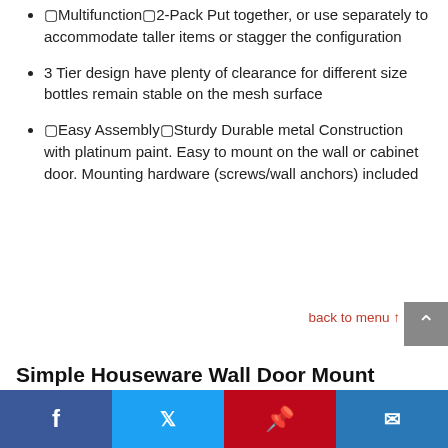🔲Multifunction🔲2-Pack Put together, or use separately to accommodate taller items or stagger the configuration
3 Tier design have plenty of clearance for different size bottles remain stable on the mesh surface
🔲Easy Assembly🔲Sturdy Durable metal Construction with platinum paint. Easy to mount on the wall or cabinet door. Mounting hardware (screws/wall anchors) included
back to menu ↑
Simple Houseware Wall Door Mount Kitchen Wrap Organizer Rack, White
[Figure (infographic): Social media sharing bar with Facebook, Twitter, Pinterest, and email icons]